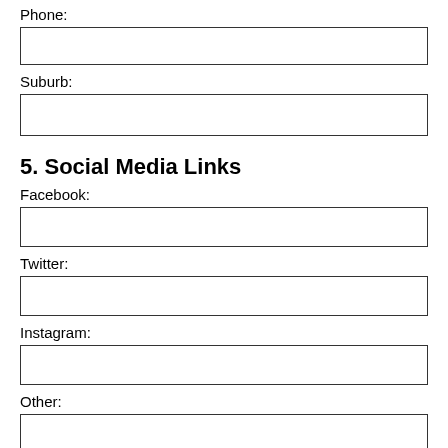Phone:
Suburb:
5. Social Media Links
Facebook:
Twitter:
Instagram:
Other:
6. Are you a WAM member?